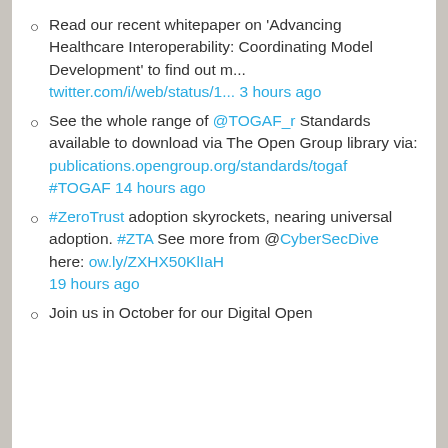Read our recent whitepaper on 'Advancing Healthcare Interoperability: Coordinating Model Development' to find out m... twitter.com/i/web/status/1... 3 hours ago
See the whole range of @TOGAF_r Standards available to download via The Open Group library via: publications.opengroup.org/standards/togaf #TOGAF 14 hours ago
#ZeroTrust adoption skyrockets, nearing universal adoption. #ZTA See more from @CyberSecDive here: ow.ly/ZXHX50KlIaH 19 hours ago
Join us in October for our Digital Open